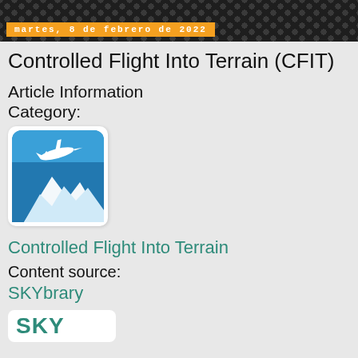martes, 8 de febrero de 2022
Controlled Flight Into Terrain (CFIT)
Article Information Category:
[Figure (illustration): CFIT category icon: airplane flying toward mountain terrain, blue square with rounded corners, white airplane and mountain silhouette]
Controlled Flight Into Terrain
Content source:
SKYbrary
[Figure (logo): SKYbrary logo showing 'SKY' text in teal/green color]